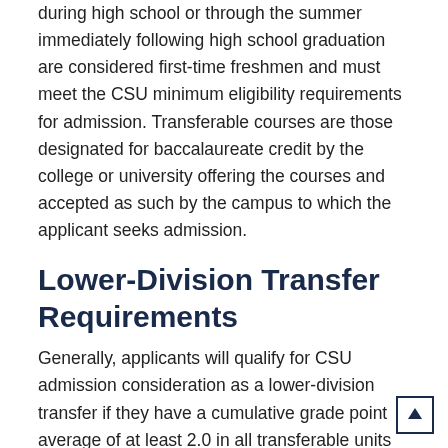during high school or through the summer immediately following high school graduation are considered first-time freshmen and must meet the CSU minimum eligibility requirements for admission. Transferable courses are those designated for baccalaureate credit by the college or university offering the courses and accepted as such by the campus to which the applicant seeks admission.
Lower-Division Transfer Requirements
Generally, applicants will qualify for CSU admission consideration as a lower-division transfer if they have a cumulative grade point average of at least 2.0 in all transferable units attempted.